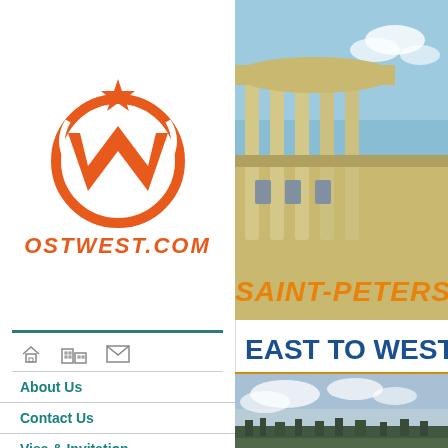[Figure (logo): OstWest.com logo — orange circle with stylized W and star on top]
OSTWEST.COM
About Us
Contact Us
Visa & Invitation
Sightseeing
Accommodation
Transfer
[Figure (photo): Photo of Saint-Petersburg classical building with columns against blue sky]
SAINT-PETERSBU...
EAST TO WEST 17...
[Figure (photo): Panoramic landscape photo with sky and distant buildings/trees]